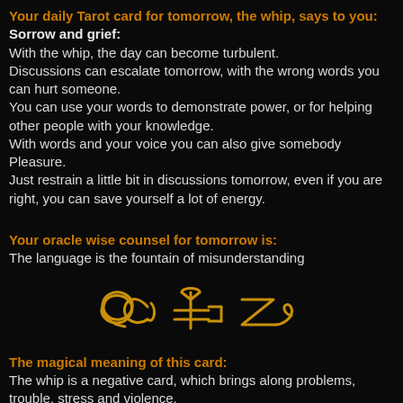Your daily Tarot card for tomorrow, the whip, says to you:
Sorrow and grief:
With the whip, the day can become turbulent.
Discussions can escalate tomorrow, with the wrong words you can hurt someone.
You can use your words to demonstrate power, or for helping other people with your knowledge.
With words and your voice you can also give somebody Pleasure.
Just restrain a little bit in discussions tomorrow, even if you are right, you can save yourself a lot of energy.
Your oracle wise counsel for tomorrow is:
The language is the fountain of misunderstanding
[Figure (illustration): Three decorative golden runic or sigil symbols on a black background, rendered in an ornate handwritten style.]
The magical meaning of this card:
The whip is a negative card, which brings along problems, trouble, stress and violence.
Think before you speak and decide exactly who you say something.